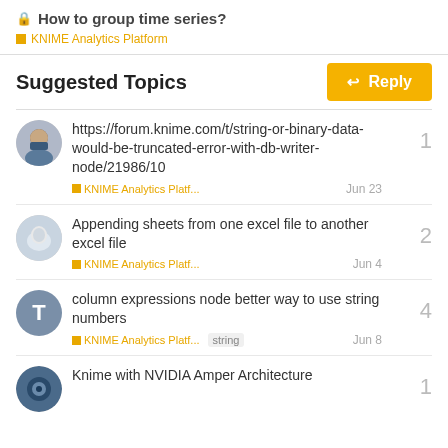🔒 How to group time series?
KNIME Analytics Platform
Suggested Topics
https://forum.knime.com/t/string-or-binary-data-would-be-truncated-error-with-db-writer-node/21986/10
KNIME Analytics Platf... Jun 23
Replies: 1
Appending sheets from one excel file to another excel file
KNIME Analytics Platf... Jun 4
Replies: 2
column expressions node better way to use string numbers
KNIME Analytics Platf... string Jun 8
Replies: 4
Knime with NVIDIA Amper Architecture
Replies: 1